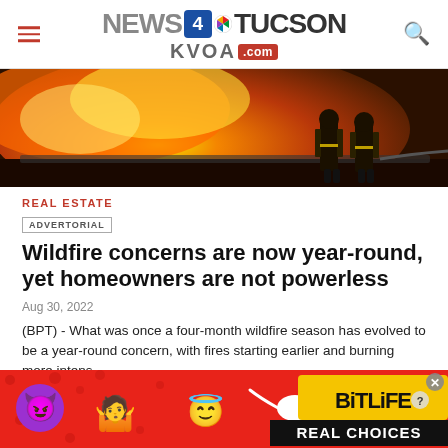NEWS 4 TUCSON KVOA.com
[Figure (photo): Firefighters standing in front of large orange flames and smoke, viewed from behind, holding a hose]
REAL ESTATE
ADVERTORIAL
Wildfire concerns are now year-round, yet homeowners are not powerless
Aug 30, 2022
(BPT) - What was once a four-month wildfire season has evolved to be a year-round concern, with fires starting earlier and burning more intens...
[Figure (screenshot): BitLife advertisement banner with emoji characters (devil, person, angel) on red polka-dot background with text REAL CHOICES]